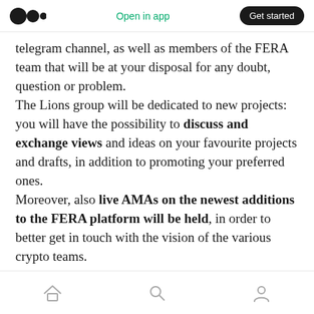Medium logo | Open in app | Get started
telegram channel, as well as members of the FERA team that will be at your disposal for any doubt, question or problem. The Lions group will be dedicated to new projects: you will have the possibility to discuss and exchange views and ideas on your favourite projects and drafts, in addition to promoting your preferred ones. Moreover, also live AMAs on the newest additions to the FERA platform will be held, in order to better get in touch with the vision of the various crypto teams.
Home | Search | Profile